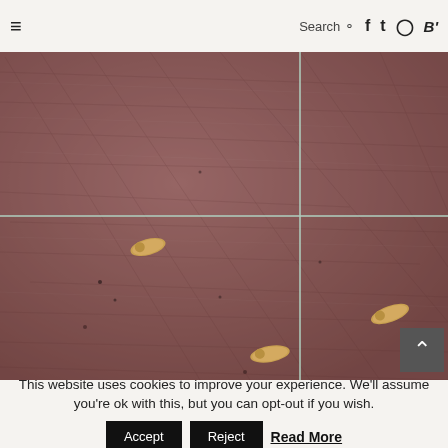≡  Search 🔍  f  t  ig  B'
[Figure (photo): Close-up macro photo of a scratched reddish-brown surface (possibly wood or tile) with white grid lines and three small yellowish larvae or grubs visible on the surface.]
This website uses cookies to improve your experience. We'll assume you're ok with this, but you can opt-out if you wish.
Accept  Reject  Read More